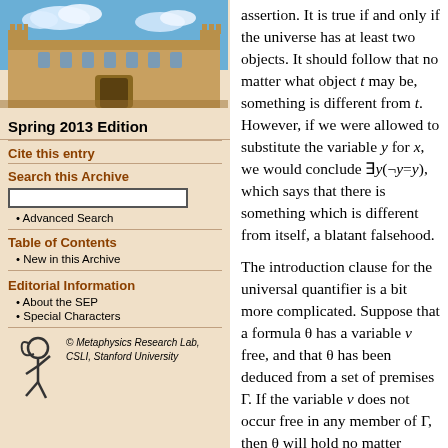[Figure (photo): Photograph of a historic university building (sandstone architecture) against a blue sky with clouds]
Spring 2013 Edition
Cite this entry
Search this Archive
Advanced Search
Table of Contents
New in this Archive
Editorial Information
About the SEP
Special Characters
[Figure (logo): Metaphysics Research Lab logo with stylized figure]
© Metaphysics Research Lab, CSLI, Stanford University
assertion. It is true if and only if the universe has at least two objects. It should follow that no matter what object t may be, something is different from t. However, if we were allowed to substitute the variable y for x, we would conclude ∃y(¬y=y), which says that there is something which is different from itself, a blatant falsehood.
The introduction clause for the universal quantifier is a bit more complicated. Suppose that a formula θ has a variable v free, and that θ has been deduced from a set of premises Γ. If the variable v does not occur free in any member of Γ, then θ will hold no matter